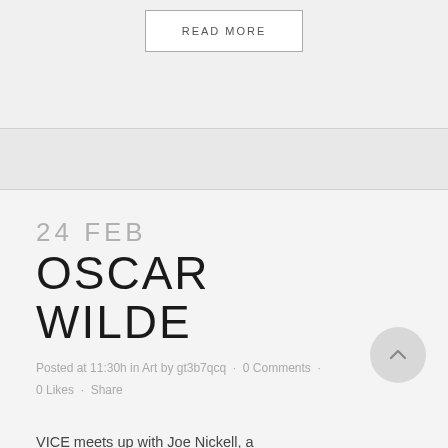READ MORE
24 FEB
OSCAR WILDE
Posted at 11:30h in Art by gt3b7qcq · 0 Comments · 0 Likes · Share
VICE meets up with Joe Nickell, a longtime paranormal investigator